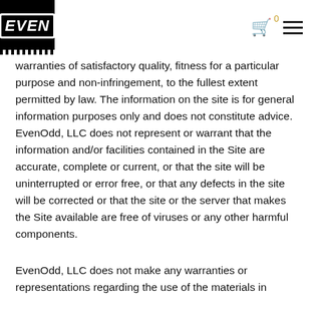EVEN logo with cart icon and menu icon
warranties of satisfactory quality, fitness for a particular purpose and non-infringement, to the fullest extent permitted by law. The information on the site is for general information purposes only and does not constitute advice. EvenOdd, LLC does not represent or warrant that the information and/or facilities contained in the Site are accurate, complete or current, or that the site will be uninterrupted or error free, or that any defects in the site will be corrected or that the site or the server that makes the Site available are free of viruses or any other harmful components.
EvenOdd, LLC does not make any warranties or representations regarding the use of the materials in